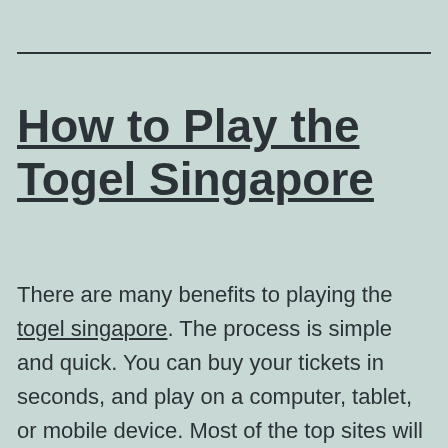How to Play the Togel Singapore
There are many benefits to playing the togel singapore. The process is simple and quick. You can buy your tickets in seconds, and play on a computer, tablet, or mobile device. Most of the top sites will run smoothly on any platform. However, it is important to note that